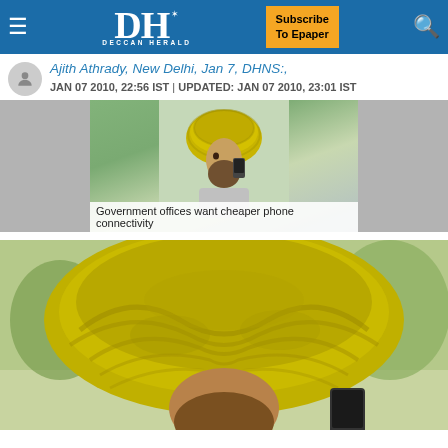Deccan Herald — Subscribe To Epaper
Ajith Athrady, New Delhi, Jan 7, DHNS:,
JAN 07 2010, 22:56 IST | UPDATED: JAN 07 2010, 23:01 IST
[Figure (photo): Thumbnail row showing a man wearing a yellow turban holding a mobile phone to his ear, flanked by gray placeholder panels on both sides]
Government offices want cheaper phone connectivity
[Figure (photo): Large close-up photo of a man wearing a yellow/green turban holding a mobile phone]